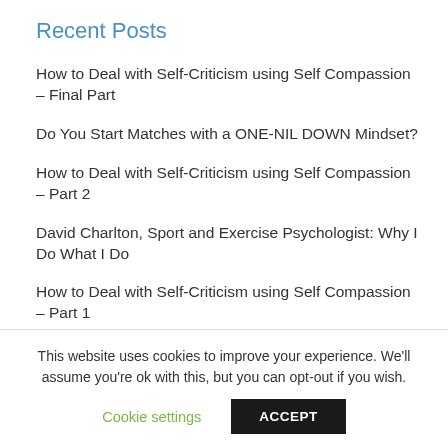Recent Posts
How to Deal with Self-Criticism using Self Compassion – Final Part
Do You Start Matches with a ONE-NIL DOWN Mindset?
How to Deal with Self-Criticism using Self Compassion – Part 2
David Charlton, Sport and Exercise Psychologist: Why I Do What I Do
How to Deal with Self-Criticism using Self Compassion – Part 1
This website uses cookies to improve your experience. We'll assume you're ok with this, but you can opt-out if you wish.
Cookie settings
ACCEPT